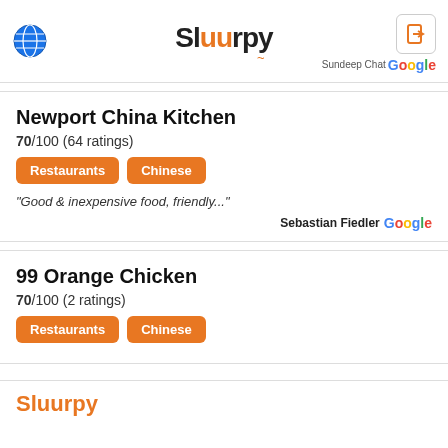Sluurpy
Sundeep Ghat
Newport China Kitchen
70/100 (64 ratings)
Restaurants
Chinese
"Good & inexpensive food, friendly..."
Sebastian Fiedler
99 Orange Chicken
70/100 (2 ratings)
Restaurants
Chinese
Sluurpy